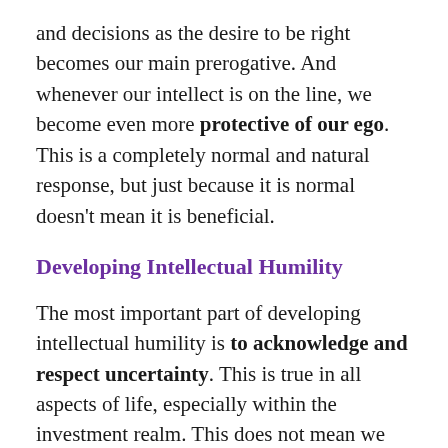and decisions as the desire to be right becomes our main prerogative. And whenever our intellect is on the line, we become even more protective of our ego. This is a completely normal and natural response, but just because it is normal doesn't mean it is beneficial.
Developing Intellectual Humility
The most important part of developing intellectual humility is to acknowledge and respect uncertainty. This is true in all aspects of life, especially within the investment realm. This does not mean we can't have strong opinions; it just means we need to recognize we could be wrong.
Being wrong doesn't mean we are ignorant or less of a person; it doesn't have to hurt our ego. There are